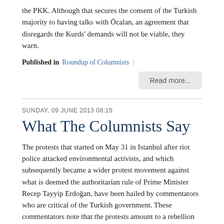the PKK. Although that secures the consent of the Turkish majority to having talks with Öcalan, an agreement that disregards the Kurds' demands will not be viable, they warn.
Published in   Roundup of Columnists  |
Read more...
SUNDAY, 09 JUNE 2013 08:15
What The Columnists Say
The protests that started on May 31 in Istanbul after riot police attacked environmental activists, and which subsequently became a wider protest movement against what is deemed the authoritarian rule of Prime Minister Recep Tayyip Erdoğan, have been hailed by commentators who are critical of the Turkish government. These commentators note that the protests amount to a rebellion against the ruling Justice and Development Party (AKP), which they hold has governed – especially since the 2011 election – without showing due respect for the other half of the population that did not vote for it. However, several leading pro-AKP commentators have also joined the chorus of critics by expressing criticism against the way Erdoğan has reacted to the protests. They implore the prime minister to moderate his stance and show empathy for those who are protesting.